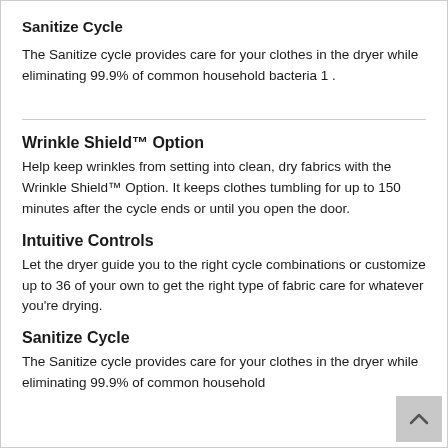Sanitize Cycle
The Sanitize cycle provides care for your clothes in the dryer while eliminating 99.9% of common household bacteria 1 .
Wrinkle Shield™ Option
Help keep wrinkles from setting into clean, dry fabrics with the Wrinkle Shield™ Option. It keeps clothes tumbling for up to 150 minutes after the cycle ends or until you open the door.
Intuitive Controls
Let the dryer guide you to the right cycle combinations or customize up to 36 of your own to get the right type of fabric care for whatever you're drying.
Sanitize Cycle
The Sanitize cycle provides care for your clothes in the dryer while eliminating 99.9% of common household